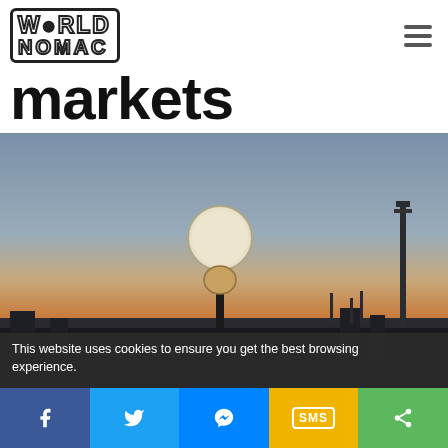WORLD NOMAC
markets
[Figure (photo): Outdoor photo at dusk/sunset showing a street lamp with a round globe light against a gradient sky (blue-gray to warm orange at the horizon). A second smaller globe lamp attachment and a tower structure are visible at the right edge.]
This website uses cookies to ensure you get the best browsing experience.